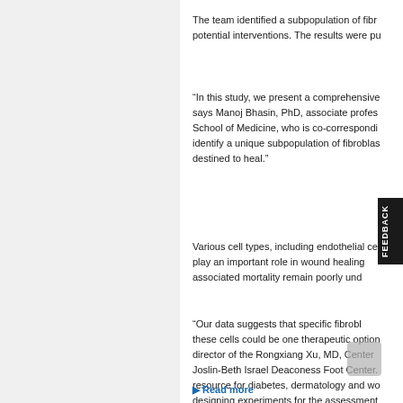The team identified a subpopulation of fibr... potential interventions. The results were pu...
“In this study, we present a comprehensive... says Manoj Bhasin, PhD, associate profes... School of Medicine, who is co-correspondi... identify a unique subpopulation of fibroblас... destined to heal.”
Various cell types, including endothelial ce... play an important role in wound healing... associated mortality remain poorly und...
“Our data suggests that specific fibrobl... these cells could be one therapeutic option... director of the Rongxiang Xu, MD, Center... Joslin-Beth Israel Deaconess Foot Center... resource for diabetes, dermatology and wo... designing experiments for the assessment...
Read more